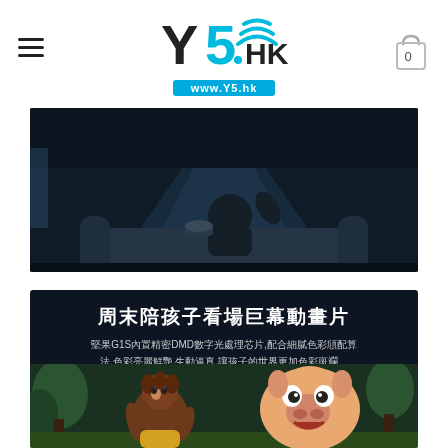Y5.HK www.Y5.hk
[Figure (photo): Person sitting on a couch watching a projection in a dark cinematic room]
[Figure (infographic): Dark promotional banner with Chinese text and animated movie scene. Title: 周末陪孩子看場巨幕動畫片. Description: 堅果G1S內置精密DMD數字光處理芯片,配合細膩色彩頎配算法,色彩亮麗鮮艷,生動逼真,讓孩子的世界更加色彩斑斕。]